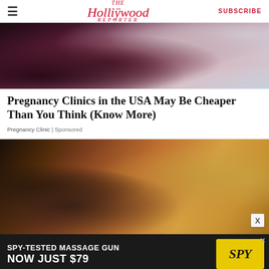The Hollywood Reporter | SUBSCRIBE
[Figure (photo): Close-up of a pregnant woman's belly in a dark maroon bikini top against a light grey background]
Pregnancy Clinics in the USA May Be Cheaper Than You Think (Know More)
Pregnancy Clinic | Sponsored
[Figure (photo): Woman lying on a yellow sofa holding an ice pack to her forehead, wearing a dark red shirt, looking unwell]
[Figure (infographic): SPY-TESTED MASSAGE GUN NOW JUST $79 advertisement banner with SPY logo on yellow background]